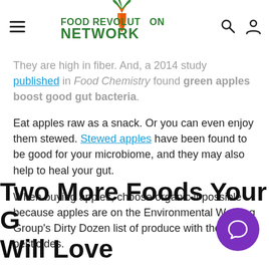Food Revolution Network
Maybe the easiest fruit to find, apples are an excellent diet addition. They are high in fiber. And, a 2014 study published in Food Chemistry found green apples boost good gut bacteria.
Eat apples raw as a snack. Or you can even enjoy them stewed. Stewed apples have been found to be good for your microbiome, and they may also help to heal your gut.
When buying apples, choose organic if possible because apples are on the Environmental Working Group's Dirty Dozen list of produce with the most pesticides.
Two More Foods Your Gut Will Love